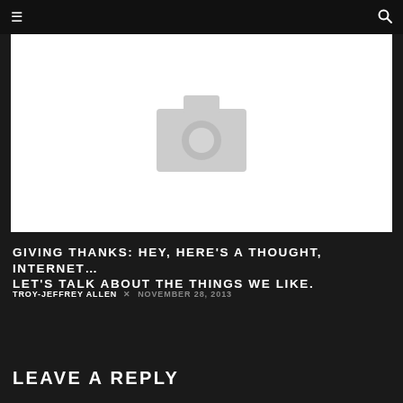≡  🔍
[Figure (photo): Placeholder image with a grey camera icon on white background]
GIVING THANKS: HEY, HERE'S A THOUGHT, INTERNET… LET'S TALK ABOUT THE THINGS WE LIKE.
TROY-JEFFREY ALLEN × NOVEMBER 28, 2013
LEAVE A REPLY